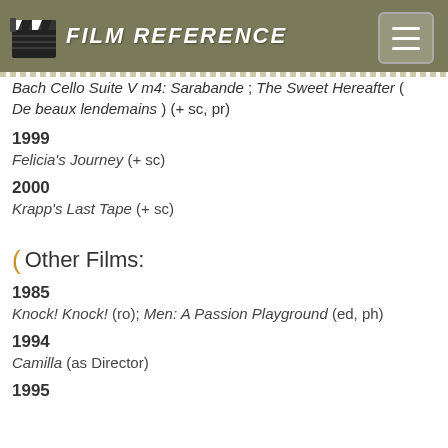FILM REFERENCE
Bach Cello Suite V m4: Sarabande ; The Sweet Hereafter ( De beaux lendemains ) (+ sc, pr)
1999
Felicia's Journey (+ sc)
2000
Krapp's Last Tape (+ sc)
Other Films:
1985
Knock! Knock! (ro); Men: A Passion Playground (ed, ph)
1994
Camilla (as Director)
1995